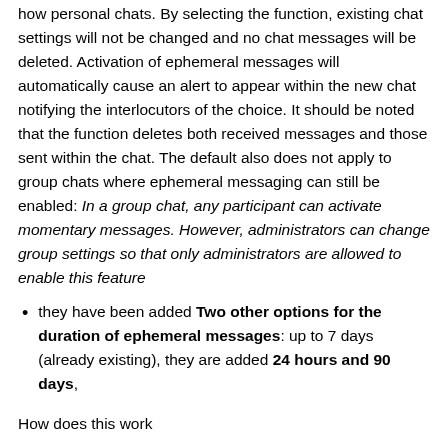how personal chats. By selecting the function, existing chat settings will not be changed and no chat messages will be deleted. Activation of ephemeral messages will automatically cause an alert to appear within the new chat notifying the interlocutors of the choice. It should be noted that the function deletes both received messages and those sent within the chat. The default also does not apply to group chats where ephemeral messaging can still be enabled: In a group chat, any participant can activate momentary messages. However, administrators can change group settings so that only administrators are allowed to enable this feature
they have been added Two other options for the duration of ephemeral messages: up to 7 days (already existing), they are added 24 hours and 90 days,
How does this work